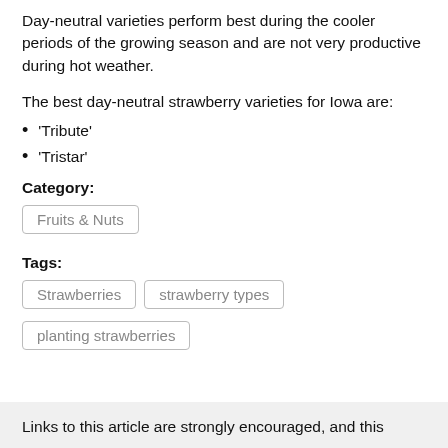Day-neutral varieties perform best during the cooler periods of the growing season and are not very productive during hot weather.
The best day-neutral strawberry varieties for Iowa are:
‘Tribute’
‘Tristar’
Category:
Fruits & Nuts
Tags:
Strawberries
strawberry types
planting strawberries
Links to this article are strongly encouraged, and this